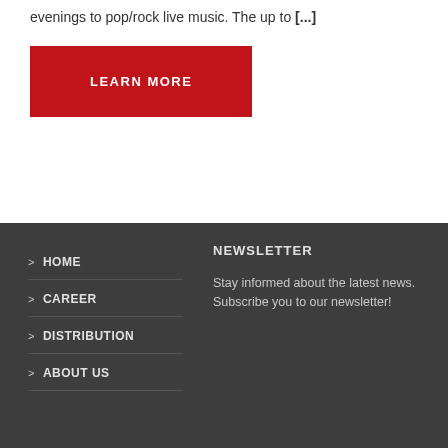evenings to pop/rock live music. The up to [...]
LEARN MORE
> HOME
> CAREER
> DISTRIBUTION
> ABOUT US
NEWSLETTER
Stay informed about the latest news. Subscribe you to our newsletter!